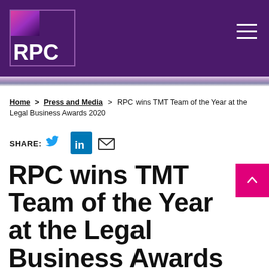[Figure (logo): RPC law firm logo — white 'RPC' text on purple background with pink-to-purple gradient square in top-left, inside a bordered box, on a dark purple header bar with hamburger menu on the right]
Home > Press and Media > RPC wins TMT Team of the Year at the Legal Business Awards 2020
SHARE:
RPC wins TMT Team of the Year at the Legal Business Awards 2020